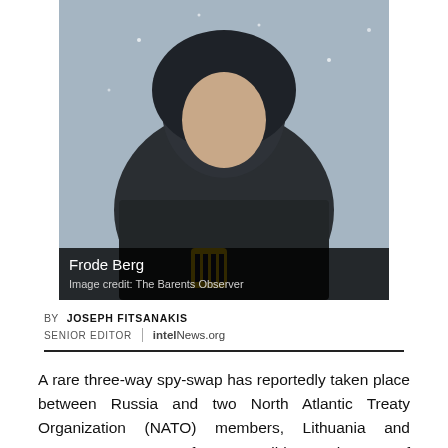[Figure (photo): Photograph of Frode Berg, a man wearing a dark hooded jacket with a yellow emblem, standing outdoors in snowy conditions. Image credit: The Barents Observer.]
BY JOSEPH FITSANAKIS
SENIOR EDITOR | intelNews.org
A rare three-way spy-swap has reportedly taken place between Russia and two North Atlantic Treaty Organization (NATO) members, Lithuania and Norway. Rumors of a possible exchange of imprisoned spies between the three countries first emerged in mid October